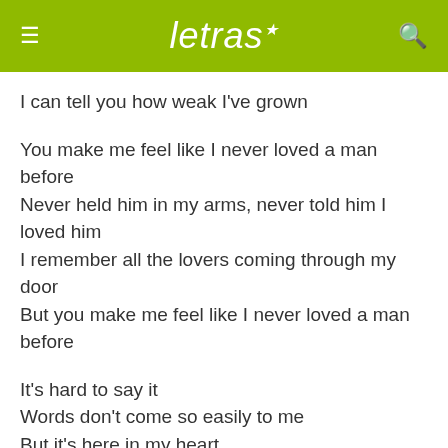letras
I can tell you how weak I've grown
You make me feel like I never loved a man before
Never held him in my arms, never told him I loved him
I remember all the lovers coming through my door
But you make me feel like I never loved a man before
It's hard to say it
Words don't come so easily to me
But it's here in my heart
And it's making me lose control
What else can I tell you